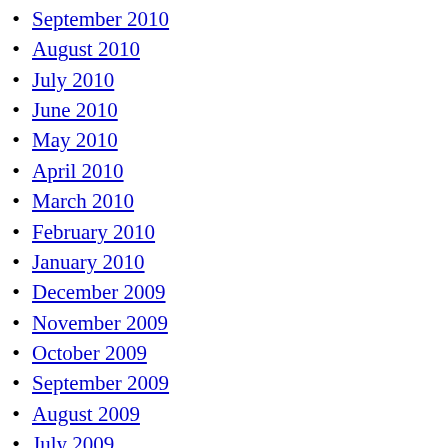September 2010
August 2010
July 2010
June 2010
May 2010
April 2010
March 2010
February 2010
January 2010
December 2009
November 2009
October 2009
September 2009
August 2009
July 2009
June 2009
May 2009
April 2009
March 2009
February 2009
January 2009
December 2008
November 2008